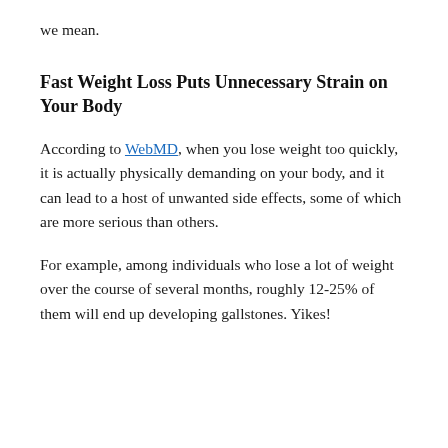we mean.
Fast Weight Loss Puts Unnecessary Strain on Your Body
According to WebMD, when you lose weight too quickly, it is actually physically demanding on your body, and it can lead to a host of unwanted side effects, some of which are more serious than others.
For example, among individuals who lose a lot of weight over the course of several months, roughly 12-25% of them will end up developing gallstones. Yikes!